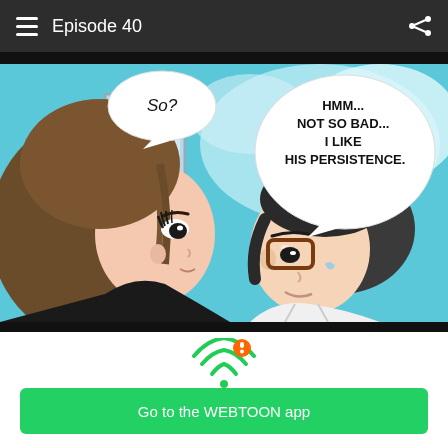Episode 40
[Figure (illustration): Webtoon comic panel showing two anime-style characters: a girl with brown hair on the left with a speech bubble saying 'So?', and a boy with glasses on the right with a speech bubble saying 'HMM... NOT SO BAD... I LIKE HIS PERSISTENCE.']
[Figure (infographic): WiFi icon with an exclamation mark badge indicating slow network warning]
Having trouble with slow networks?
Download stories on your phone and read offline!
Go to the WEBTOON app